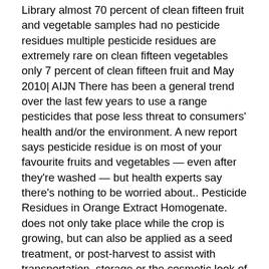Library almost 70 percent of clean fifteen fruit and vegetable samples had no pesticide residues multiple pesticide residues are extremely rare on clean fifteen vegetables only 7 percent of clean fifteen fruit and May 2010| AIJN There has been a general trend over the last few years to use a range pesticides that pose less threat to consumers' health and/or the environment. A new report says pesticide residue is on most of your favourite fruits and vegetables — even after they're washed — but health experts say there's nothing to be worried about.. Pesticide Residues in Orange Extract Homogenate. does not only take place while the crop is growing, but can also be applied as a seed treatment, or post-harvest to assist with transportation, storage or the cosmetic look of a particular item. Heavy metals are present in the irrigation water and other manures. The average potato had more pesticides by weight than any other food. However, testing does not sample every grower or processor or every food. Only three of the major marketplaces there have the necessary infrastructure to determine pesticide